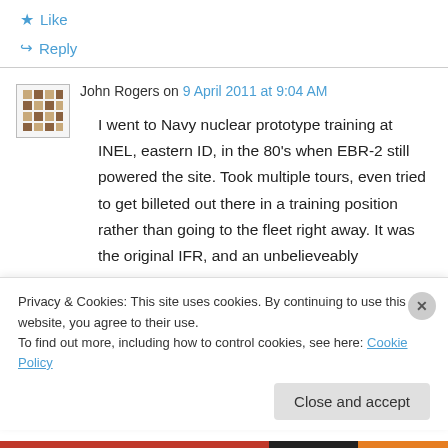★ Like
↪ Reply
John Rogers on 9 April 2011 at 9:04 AM
I went to Navy nuclear prototype training at INEL, eastern ID, in the 80's when EBR-2 still powered the site. Took multiple tours, even tried to get billeted out there in a training position rather than going to the fleet right away. It was the original IFR, and an unbelieveably
Privacy & Cookies: This site uses cookies. By continuing to use this website, you agree to their use.
To find out more, including how to control cookies, see here: Cookie Policy
Close and accept